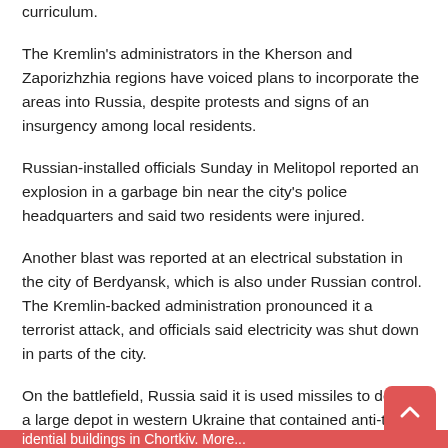curriculum.
The Kremlin's administrators in the Kherson and Zaporizhzhia regions have voiced plans to incorporate the areas into Russia, despite protests and signs of an insurgency among local residents.
Russian-installed officials Sunday in Melitopol reported an explosion in a garbage bin near the city's police headquarters and said two residents were injured.
Another blast was reported at an electrical substation in the city of Berdyansk, which is also under Russian control. The Kremlin-backed administration pronounced it a terrorist attack, and officials said electricity was shut down in parts of the city.
On the battlefield, Russia said it is used missiles to destroy a large depot in western Ukraine that contained anti-tank and air-defense weapons supplied to Kyiv by the U.S. and European countries. It said the attack took place near the city of Chortkiv in the Ternopil region.
Ternopil Gov. Volodymyr Trush said four Russian missiles damaged a residential buildings in Chortkiv. More...